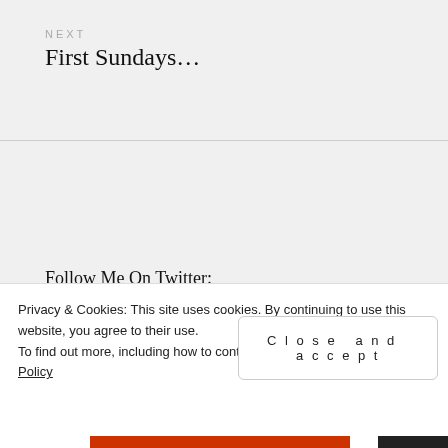NEXT
First Sundays…
Follow Me On Twitter:
Tweets from
Privacy & Cookies: This site uses cookies. By continuing to use this website, you agree to their use.
To find out more, including how to cont…
Policy
Close and accept